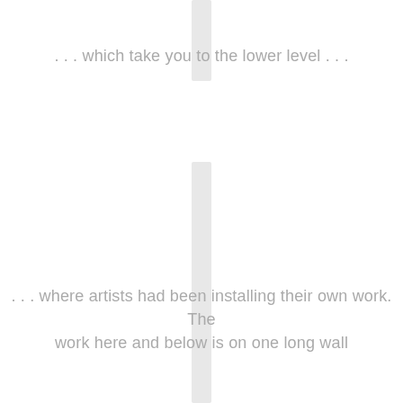. . . which take you to the lower level . . .
[Figure (illustration): Vertical white/light-gray stripe running through the center of the page, representing stairs or a vertical architectural element, shown in three segments separated by the text blocks.]
. . . where artists had been installing their own work. The work here and below is on one long wall